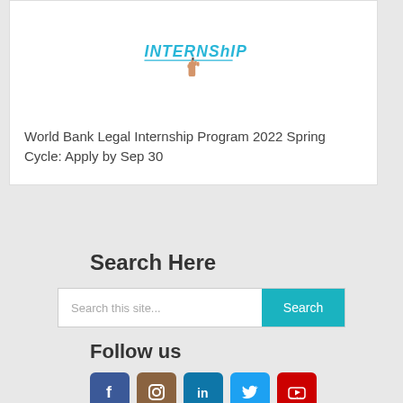[Figure (photo): Hand writing 'INTERNSHIP' in blue text with underline on white board]
World Bank Legal Internship Program 2022 Spring Cycle: Apply by Sep 30
Search Here
Search this site...
Follow us
[Figure (infographic): Social media icons: Facebook, Instagram, LinkedIn, Twitter, YouTube]